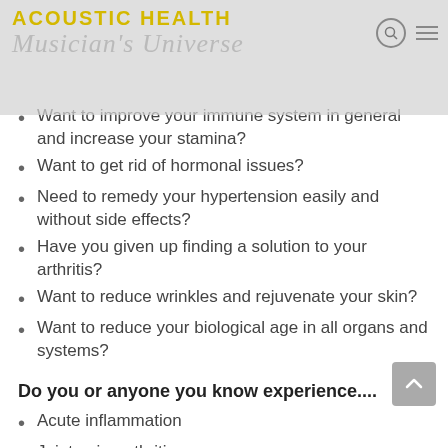Acoustic Health / Musician's Universe
Want to improve your immune system in general and increase your stamina?
Want to get rid of hormonal issues?
Need to remedy your hypertension easily and without side effects?
Have you given up finding a solution to your arthritis?
Want to reduce wrinkles and rejuvenate your skin?
Want to reduce your biological age in all organs and systems?
Do you or anyone you know experience....
Acute inflammation
Joint pain, arthritis
Hypertension
Cardiovascular issues
Skin challenges
Diseases or imbalances in the body?